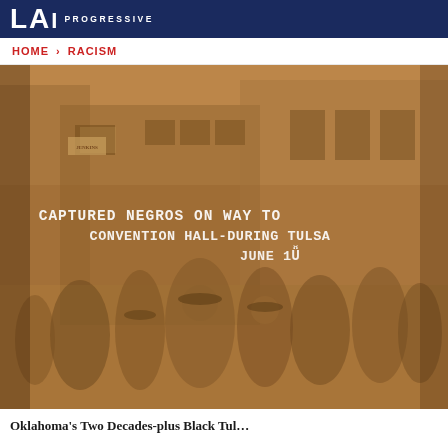LAI PROGRESSIVE
HOME > RACISM
[Figure (photo): Historical sepia-toned photograph showing a crowd of people on a street in front of a brick building. Handwritten text on the photo reads: 'CAPTURED NEGROS ON WAY TO CONVENTION HALL - DURING TULSA JUNE 1[921]'. The image depicts the 1921 Tulsa Race Massacre.]
Oklahoma's Two Decades-plus Black Tul...